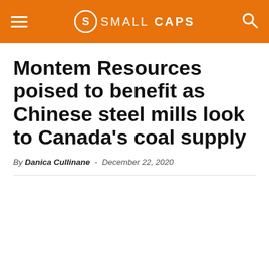SMALL CAPS
Montem Resources poised to benefit as Chinese steel mills look to Canada’s coal supply
By Danica Cullinane - December 22, 2020